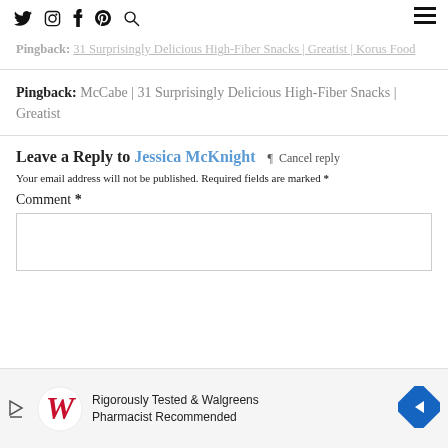Social icons: Twitter, Instagram, Facebook, Pinterest, Search; Hamburger menu
Pingback: 31 Surprisingly Delicious High-Fiber Snacks | Greatist | Korus Food
Pingback: McCabe | 31 Surprisingly Delicious High-Fiber Snacks | Greatist
Leave a Reply to Jessica McKnight  ¶  Cancel reply
Your email address will not be published. Required fields are marked *
Comment *
[Figure (infographic): Advertisement banner: Walgreens logo with red W, text 'Rigorously Tested & Walgreens Pharmacist Recommended', blue diamond arrow icon]